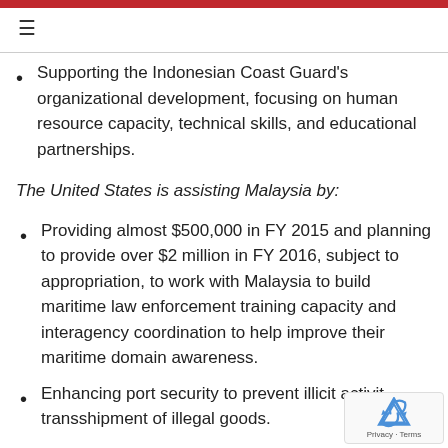Supporting the Indonesian Coast Guard's organizational development, focusing on human resource capacity, technical skills, and educational partnerships.
The United States is assisting Malaysia by:
Providing almost $500,000 in FY 2015 and planning to provide over $2 million in FY 2016, subject to appropriation, to work with Malaysia to build maritime law enforcement training capacity and interagency coordination to help improve their maritime domain awareness.
Enhancing port security to prevent illicit activities and transshipment of illegal goods.